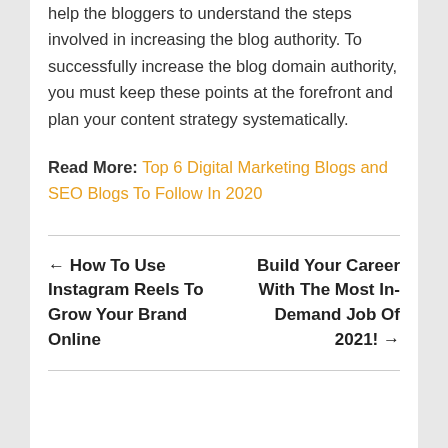help the bloggers to understand the steps involved in increasing the blog authority. To successfully increase the blog domain authority, you must keep these points at the forefront and plan your content strategy systematically.
Read More: Top 6 Digital Marketing Blogs and SEO Blogs To Follow In 2020
← How To Use Instagram Reels To Grow Your Brand Online
Build Your Career With The Most In-Demand Job Of 2021! →